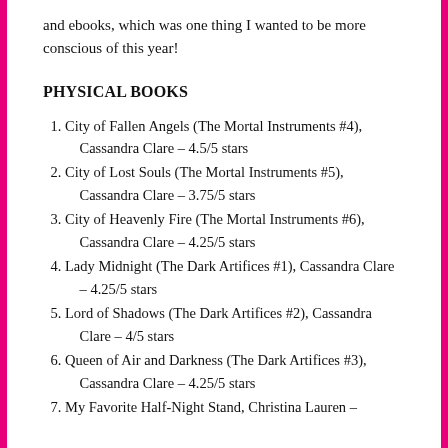and ebooks, which was one thing I wanted to be more conscious of this year!
PHYSICAL BOOKS
City of Fallen Angels (The Mortal Instruments #4), Cassandra Clare – 4.5/5 stars
City of Lost Souls (The Mortal Instruments #5), Cassandra Clare – 3.75/5 stars
City of Heavenly Fire (The Mortal Instruments #6), Cassandra Clare – 4.25/5 stars
Lady Midnight (The Dark Artifices #1), Cassandra Clare – 4.25/5 stars
Lord of Shadows (The Dark Artifices #2), Cassandra Clare – 4/5 stars
Queen of Air and Darkness (The Dark Artifices #3), Cassandra Clare – 4.25/5 stars
My Favorite Half-Night Stand, Christina Lauren –